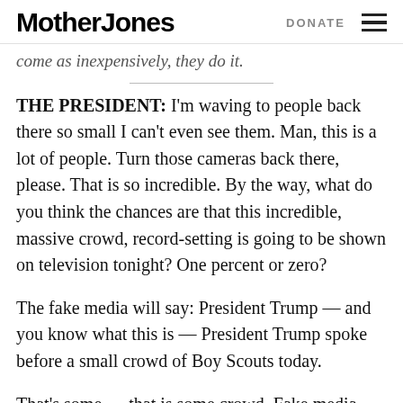Mother Jones | DONATE
come as inexpensively, they do it.
THE PRESIDENT: I’m waving to people back there so small I can’t even see them. Man, this is a lot of people. Turn those cameras back there, please. That is so incredible. By the way, what do you think the chances are that this incredible, massive crowd, record-setting is going to be shown on television tonight? One percent or zero?
The fake media will say: President Trump — and you know what this is — President Trump spoke before a small crowd of Boy Scouts today.
That’s some — that is some crowd. Fake media. Fake